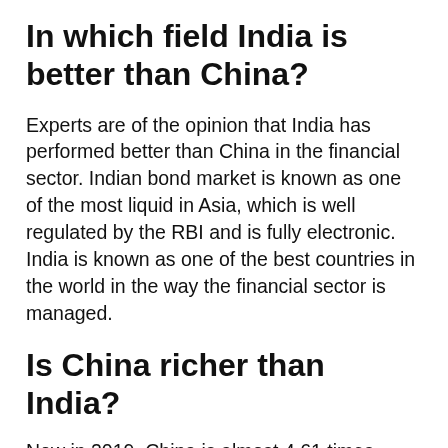In which field India is better than China?
Experts are of the opinion that India has performed better than China in the financial sector. Indian bond market is known as one of the most liquid in Asia, which is well regulated by the RBI and is fully electronic. India is known as one of the best countries in the world in the way the financial sector is managed.
Is China richer than India?
Now in 2019, China is almost 4.61 times richer than India in nominal method and 2.30 times richer in PPP method. Per capita rank of China and India is 72th and 145th